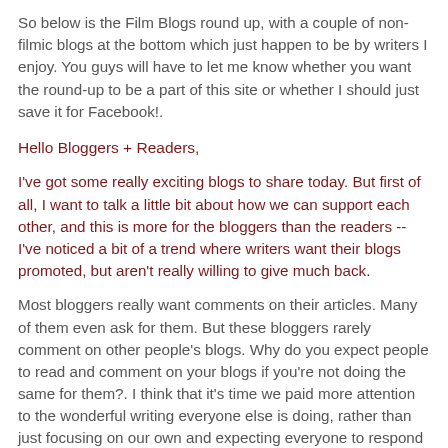So below is the Film Blogs round up, with a couple of non-filmic blogs at the bottom which just happen to be by writers I enjoy. You guys will have to let me know whether you want the round-up to be a part of this site or whether I should just save it for Facebook!.
Hello Bloggers + Readers,
I've got some really exciting blogs to share today. But first of all, I want to talk a little bit about how we can support each other, and this is more for the bloggers than the readers -- I've noticed a bit of a trend where writers want their blogs promoted, but aren't really willing to give much back.
Most bloggers really want comments on their articles. Many of them even ask for them. But these bloggers rarely comment on other people's blogs. Why do you expect people to read and comment on your blogs if you're not doing the same for them?. I think that it's time we paid more attention to the wonderful writing everyone else is doing, rather than just focusing on our own and expecting everyone to respond to it. It's the old thing of 'you get what you give' - I